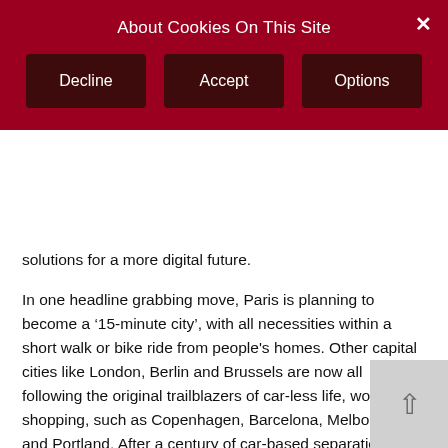About Cookies On This Site
Decline
Accept
Options
solutions for a more digital future.
In one headline grabbing move, Paris is planning to become a ‘15-minute city’, with all necessities within a short walk or bike ride from people's homes. Other capital cities like London, Berlin and Brussels are now all following the original trailblazers of car-less life, work and shopping, such as Copenhagen, Barcelona, Melbourne and Portland. After a century of car-based separation of (sub-urban) living quarters, shopping centers and industry parks, the shift to digital workstyles encourages the creation of integrated work/life neighborhoods, such as